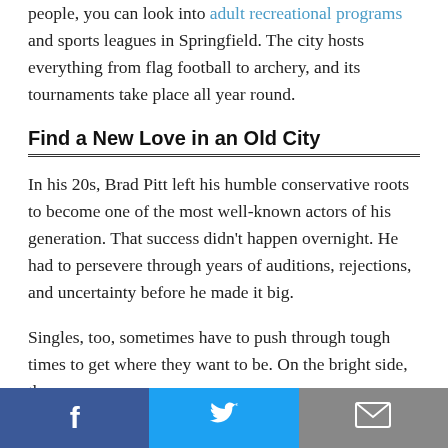people, you can look into adult recreational programs and sports leagues in Springfield. The city hosts everything from flag football to archery, and its tournaments take place all year round.
Find a New Love in an Old City
In his 20s, Brad Pitt left his humble conservative roots to become one of the most well-known actors of his generation. That success didn't happen overnight. He had to persevere through years of auditions, rejections, and uncertainty before he made it big.
Singles, too, sometimes have to push through tough times to get where they want to be. On the bright side, the more
Facebook | Twitter | Email